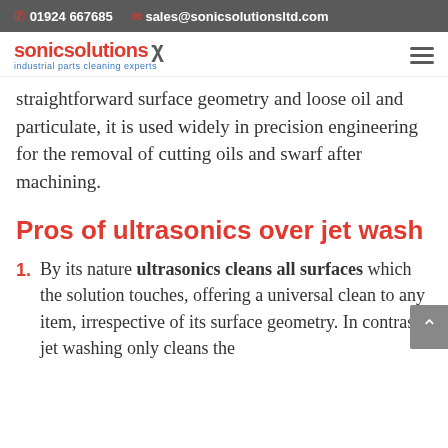📞 01924 667685  ✉ sales@sonicsolutionsltd.com
sonic solutions industrial parts cleaning experts
straightforward surface geometry and loose oil and particulate, it is used widely in precision engineering for the removal of cutting oils and swarf after machining.
Pros of ultrasonics over jet wash
By its nature ultrasonics cleans all surfaces which the solution touches, offering a universal clean to any item, irrespective of its surface geometry. In contrast jet washing only cleans the